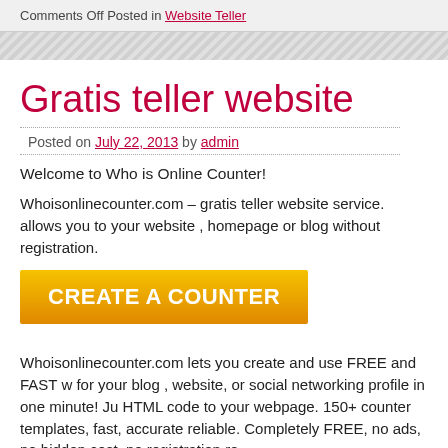Comments Off Posted in Website Teller
Gratis teller website
Posted on July 22, 2013 by admin
Welcome to Who is Online Counter!
Whoisonlinecounter.com – gratis teller website service. allows you to your website , homepage or blog without registration.
[Figure (other): CREATE A COUNTER button in orange/yellow gradient]
Whoisonlinecounter.com lets you create and use FREE and FAST w for your blog , website, or social networking profile in one minute! Ju HTML code to your webpage. 150+ counter templates, fast, accurate reliable. Completely FREE, no ads, no hidden cost, no registration re
150+ popular counters styles
fast USA located servers